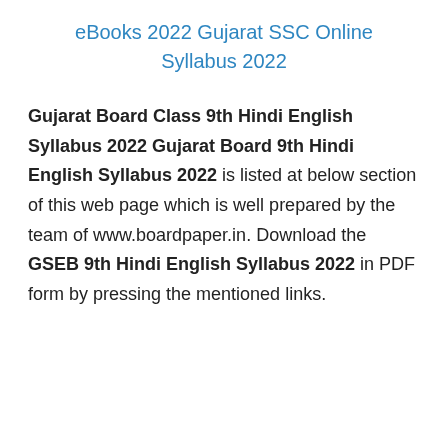eBooks 2022 Gujarat SSC Online Syllabus 2022
Gujarat Board Class 9th Hindi English Syllabus 2022 Gujarat Board 9th Hindi English Syllabus 2022 is listed at below section of this web page which is well prepared by the team of www.boardpaper.in. Download the GSEB 9th Hindi English Syllabus 2022 in PDF form by pressing the mentioned links.